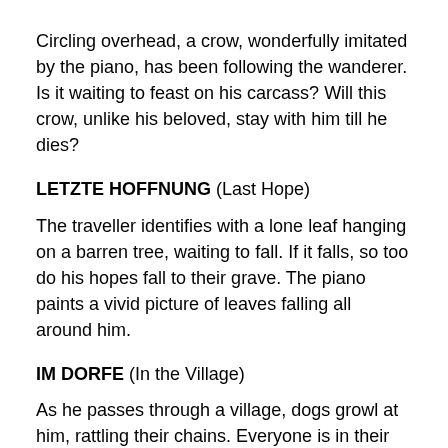Circling overhead, a crow, wonderfully imitated by the piano, has been following the wanderer. Is it waiting to feast on his carcass? Will this crow, unlike his beloved, stay with him till he dies?
LETZTE HOFFNUNG (Last Hope)
The traveller identifies with a lone leaf hanging on a barren tree, waiting to fall. If it falls, so too do his hopes fall to their grave. The piano paints a vivid picture of leaves falling all around him.
IM DORFE (In the Village)
As he passes through a village, dogs growl at him, rattling their chains. Everyone is in their beds, dreaming. Why should he stay with these dreamers, when his own dreams are all over?
DER STÜRMISCHE MORGEN (The Stormy Morning)
With the courage of desperation, the traveller faces an early morning storm...